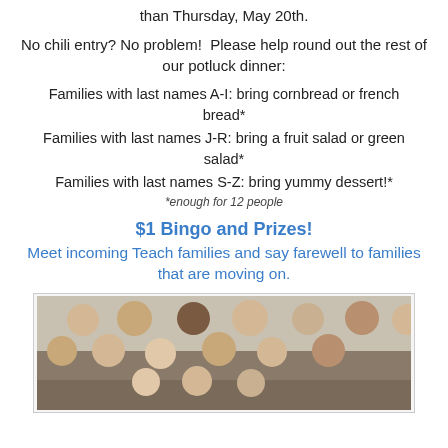than Thursday, May 20th.
No chili entry? No problem!  Please help round out the rest of our potluck dinner:
Families with last names A-I: bring cornbread or french bread*
Families with last names J-R: bring a fruit salad or green salad*
Families with last names S-Z: bring yummy dessert!*
*enough for 12 people
$1 Bingo and Prizes!
Meet incoming Teach families and say farewell to families that are moving on.
[Figure (photo): Group photo of children smiling, approximately 12 kids of various ages gathered together]